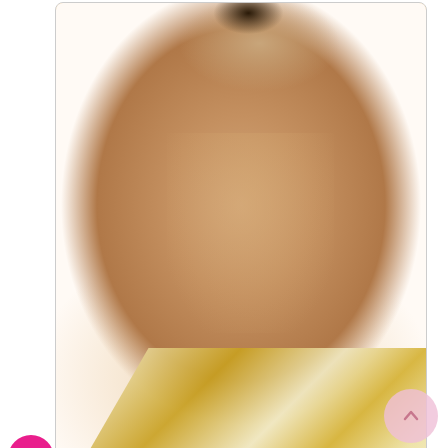[Figure (photo): Main product photo: woman wearing short curly black wig (HR ALIA), wearing white and gold patterned strapless top, cropped to show face/shoulders/chest against light background]
[Figure (photo): Thumbnail 1: smaller front-view of woman in same short curly wig and gold outfit]
[Figure (photo): Thumbnail 2: smaller side-view of woman in same short curly wig and gold outfit]
Zury Sis 100% Human Hair Wig - HR ALIA
4 Reviews
Sale